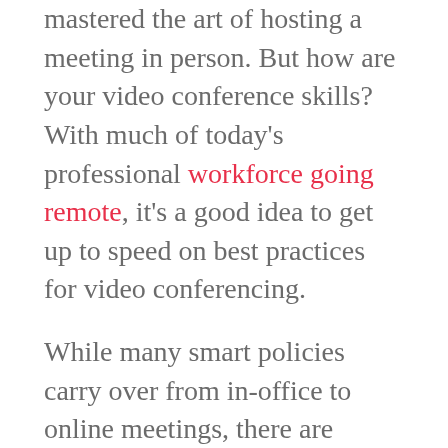mastered the art of hosting a meeting in person. But how are your video conference skills? With much of today's professional workforce going remote, it's a good idea to get up to speed on best practices for video conferencing.
While many smart policies carry over from in-office to online meetings, there are distinct tips that apply only to the virtual realm.
DO research your tech options. Zoom, Google Meet, GoToMeeting, join.me, Webex, Microsoft Teams or Skype—oh my! The choices seem endless. To find the right one for you, focus on the functions you need.